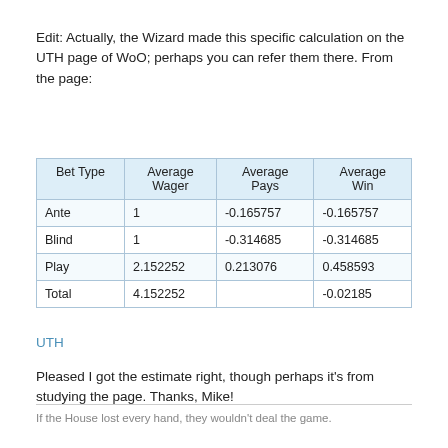Edit: Actually, the Wizard made this specific calculation on the UTH page of WoO; perhaps you can refer them there. From the page:
| Bet Type | Average Wager | Average Pays | Average Win |
| --- | --- | --- | --- |
| Ante | 1 | -0.165757 | -0.165757 |
| Blind | 1 | -0.314685 | -0.314685 |
| Play | 2.152252 | 0.213076 | 0.458593 |
| Total | 4.152252 |  | -0.02185 |
UTH
Pleased I got the estimate right, though perhaps it's from studying the page. Thanks, Mike!
If the House lost every hand, they wouldn't deal the game.